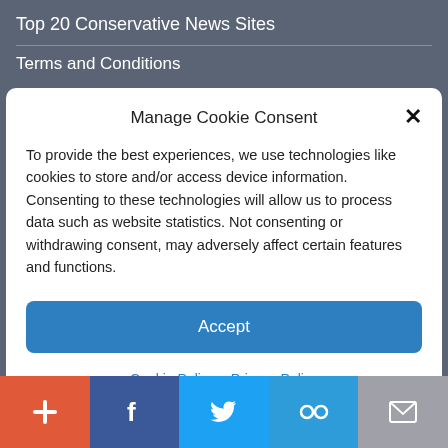Top 20 Conservative News Sites
Terms and Conditions
Manage Cookie Consent
To provide the best experiences, we use technologies like cookies to store and/or access device information. Consenting to these technologies will allow us to process data such as website statistics. Not consenting or withdrawing consent, may adversely affect certain features and functions.
Accept
Cookie Policy  Privacy Policy